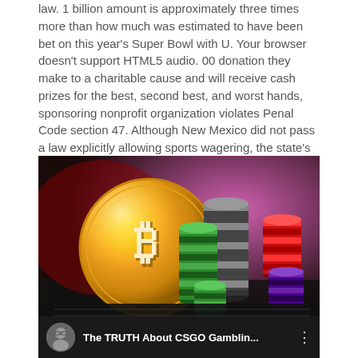law. 1 billion amount is approximately three times more than how much was estimated to have been bet on this year's Super Bowl with U. Your browser doesn't support HTML5 audio. 00 donation they make to a charitable cause and will receive cash prizes for the best, second best, and worst hands, sponsoring nonprofit organization violates Penal Code section 47. Although New Mexico did not pass a law explicitly allowing sports wagering, the state's attorney general determined that casinos could offer it under the existing tribal state compact.
[Figure (photo): A large gold Bitcoin coin leaning against stacks of casino chips in various colors (green, grey/black, red, purple) on a dark surface with colorful blurred background.]
[Figure (screenshot): Video bar showing thumbnail avatar of a person with glasses, title 'The TRUTH About CSGO Gamblin...' on dark background with three-dot menu icon.]